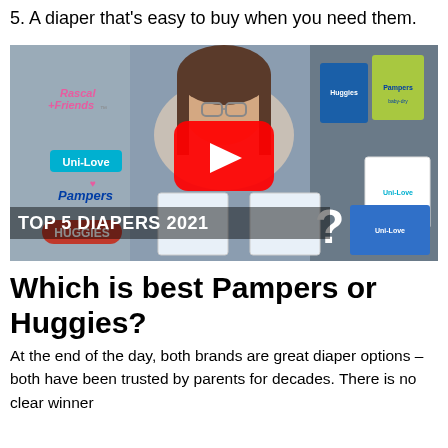5. A diaper that's easy to buy when you need them.
[Figure (screenshot): YouTube video thumbnail showing a woman holding diaper packages with various brand logos (Rascal+Friends, Uni-Love, Pampers, Huggies, Rascal+Friends) and a red YouTube play button. Text overlay reads 'TOP 5 DIAPERS 2021' with a question mark graphic. Various diaper brand packages shown in background.]
Which is best Pampers or Huggies?
At the end of the day, both brands are great diaper options – both have been trusted by parents for decades. There is no clear winner